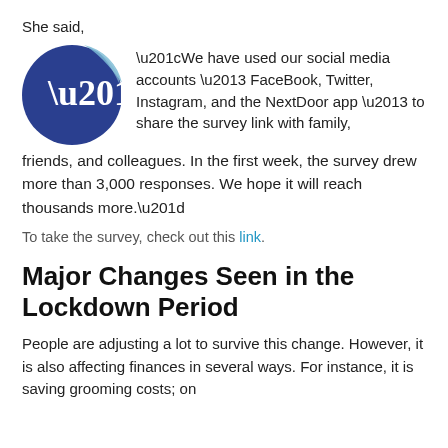She said,
[Figure (illustration): A circular quote icon with a dark blue background and a light blue folded corner at top-right, with double quotation mark symbol in white on the left side.]
“We have used our social media accounts – FaceBook, Twitter, Instagram, and the NextDoor app – to share the survey link with family, friends, and colleagues. In the first week, the survey drew more than 3,000 responses. We hope it will reach thousands more.”
To take the survey, check out this link.
Major Changes Seen in the Lockdown Period
People are adjusting a lot to survive this change. However, it is also affecting finances in several ways. For instance, it is saving grooming costs; on